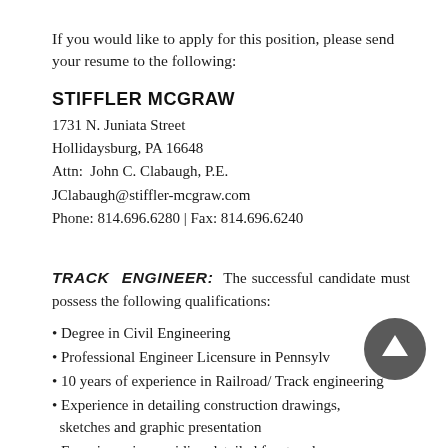If you would like to apply for this position, please send your resume to the following:
STIFFLER MCGRAW
1731 N. Juniata Street
Hollidaysburg, PA 16648
Attn: John C. Clabaugh, P.E.
JClabaugh@stiffler-mcgraw.com
Phone: 814.696.6280 | Fax: 814.696.6240
TRACK ENGINEER: The successful candidate must possess the following qualifications:
Degree in Civil Engineering
Professional Engineer Licensure in Pennsylvania
10 years of experience in Railroad/ Track engineering
Experience in detailing construction drawings, sketches and graphic presentation
Experience in providing detailed front end...